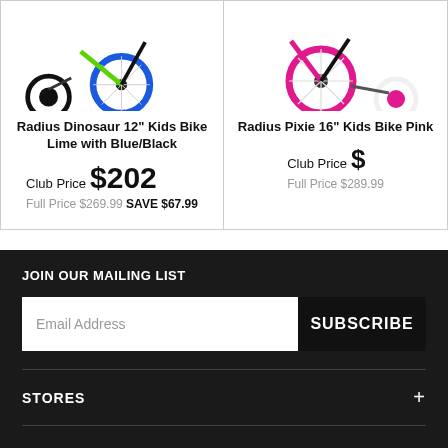[Figure (photo): Partial view of a kids bike with training wheels, lime/blue/black colors, showing bottom portion of bike]
Radius Dinosaur 12" Kids Bike Lime with Blue/Black
Club Price $202
Full Price $269.99 SAVE $67.99
[Figure (photo): Partial view of a kids bike with training wheels, pink/white colors, showing bottom portion of bike]
Radius Pixie 16" Kids Bike Pink
Club Price $
Full Price $289.99
JOIN OUR MAILING LIST
Email Address
SUBSCRIBE
STORES +
ACCOUNT +